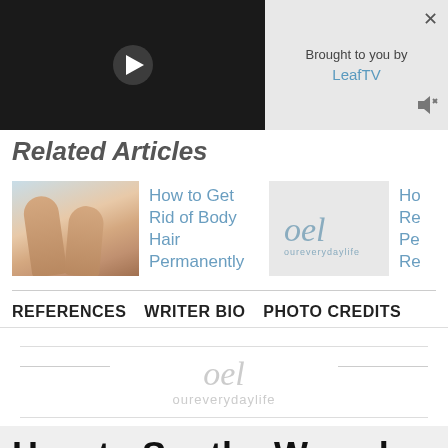[Figure (screenshot): Video player (dark background with play button) and 'Brought to you by LeafTV' panel with close X and mute icon]
Related Articles
[Figure (photo): Photo of legs on a beach/pool surface]
How to Get Rid of Body Hair Permanently
[Figure (logo): oureverydaylife (oel) logo]
Ho... Re... Pe... Re...
REFERENCES   WRITER BIO   PHOTO CREDITS
[Figure (logo): oureverydaylife watermark logo centered with decorative lines]
How to Soothe Waxed Skin